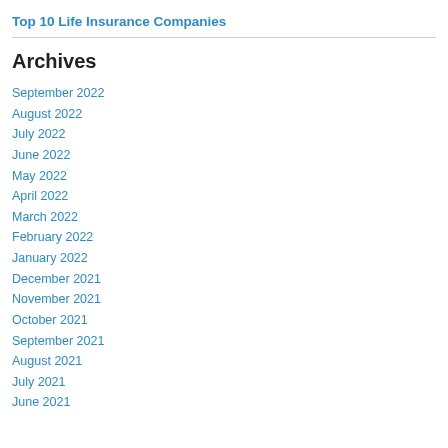Top 10 Life Insurance Companies
Archives
September 2022
August 2022
July 2022
June 2022
May 2022
April 2022
March 2022
February 2022
January 2022
December 2021
November 2021
October 2021
September 2021
August 2021
July 2021
June 2021